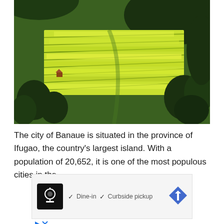[Figure (photo): Aerial view of bright green terraced rice fields in Banaue, Ifugao, Philippines, with trees and forested hills in the background]
The city of Banaue is situated in the province of Ifugao, the country's largest island. With a population of 20,652, it is one of the most populous cities in the
[Figure (infographic): Advertisement overlay showing a restaurant icon, checkmarks for Dine-in and Curbside pickup options, and a navigation arrow]